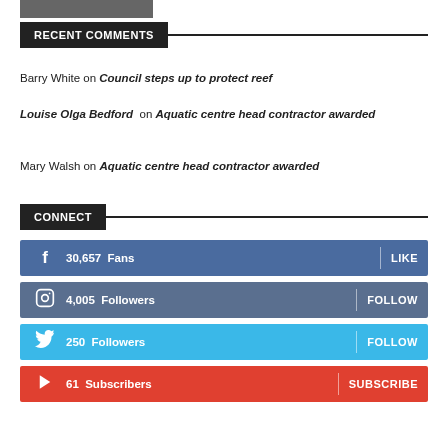[Figure (photo): Partial image visible at top of page]
RECENT COMMENTS
Barry White on Council steps up to protect reef
Louise Olga Bedford on Aquatic centre head contractor awarded
Mary Walsh on Aquatic centre head contractor awarded
CONNECT
30,657 Fans LIKE
4,005 Followers FOLLOW
250 Followers FOLLOW
61 Subscribers SUBSCRIBE